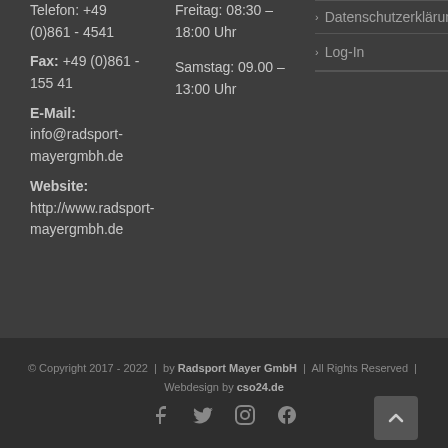Telefon: +49 (0)861 - 4541
Fax: +49 (0)861 - 155 41
E-Mail: info@radsport-mayergmbh.de
Website: http://www.radsport-mayergmbh.de
Freitag: 08:30 – 18:00 Uhr
Samstag: 09.00 – 13:00 Uhr
Datenschutzerklärung
Log-In
© Copyright 2017 - 2022  |  by Radsport Mayer GmbH  |  All Rights Reserved  |  Webdesign by cso24.de